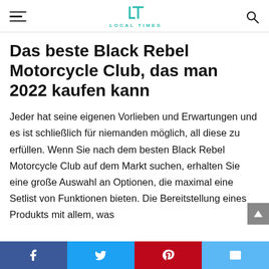LOCAL TIMES
Das beste Black Rebel Motorcycle Club, das man 2022 kaufen kann
Jeder hat seine eigenen Vorlieben und Erwartungen und es ist schließlich für niemanden möglich, all diese zu erfüllen. Wenn Sie nach dem besten Black Rebel Motorcycle Club auf dem Markt suchen, erhalten Sie eine große Auswahl an Optionen, die maximal eine Setlist von Funktionen bieten. Die Bereitstellung eines Produkts mit allem, was
Social share bar: Facebook, Twitter, Pinterest, Email